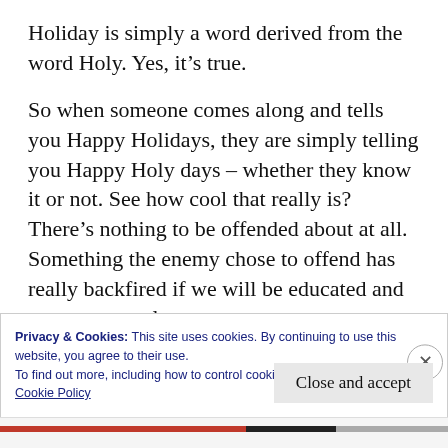Holiday is simply a word derived from the word Holy. Yes, it's true.
So when someone comes along and tells you Happy Holidays, they are simply telling you Happy Holy days – whether they know it or not. See how cool that really is? There's nothing to be offended about at all. Something the enemy chose to offend has really backfired if we will be educated and get over ourselves.
Privacy & Cookies: This site uses cookies. By continuing to use this website, you agree to their use.
To find out more, including how to control cookies, see here:
Cookie Policy
Close and accept